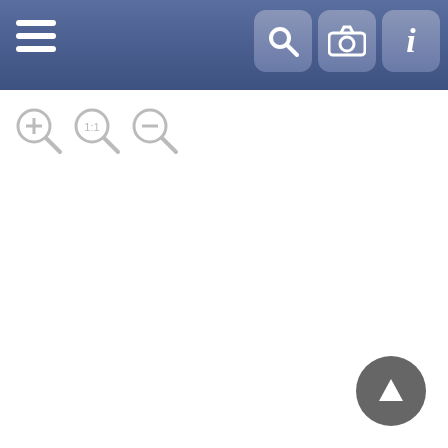[Figure (screenshot): Genealogy application screenshot showing a family tree view. Top toolbar with hamburger menu, search, camera, and info icons. Zoom controls below toolbar. Two person cards visible: Elizabeth Wright (female, 1799-1851) and David Arnold (male, 1798-1861). An unknown person card partially visible on right. Connector lines linking cards. Up navigation button bottom-right.]
Elizabeth Wright ♀ 1799-1851
David Arnold ♂ 1798-1861